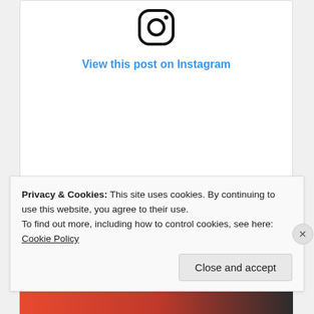[Figure (screenshot): Instagram embed card showing logo, 'View this post on Instagram' link, placeholder icons (heart, comment, share), grey placeholder bars, and attribution text 'A post shared by holly (is reading) (@nutfreenerd)']
A post shared by holly (is reading) (@nutfreenerd)
Privacy & Cookies: This site uses cookies. By continuing to use this website, you agree to their use.
To find out more, including how to control cookies, see here: Cookie Policy
Close and accept